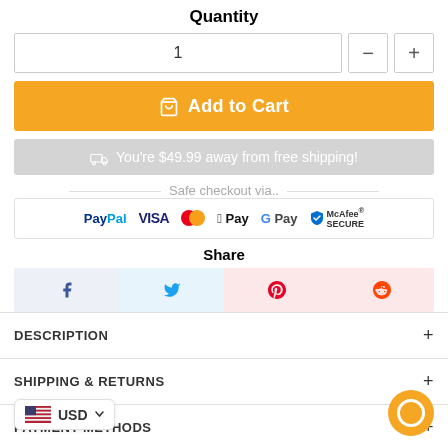Quantity
1
Add to Cart
You're $49.99 away from free shipping!
Safe checkout via..
[Figure (logo): Payment method logos: PayPal, VISA, Mastercard, Apple Pay, G Pay, McAfee Secure]
Share
Social share buttons: Facebook, Twitter, Pinterest, Reddit
DESCRIPTION +
SHIPPING & RETURNS +
PAYMENT METHODS +
USD